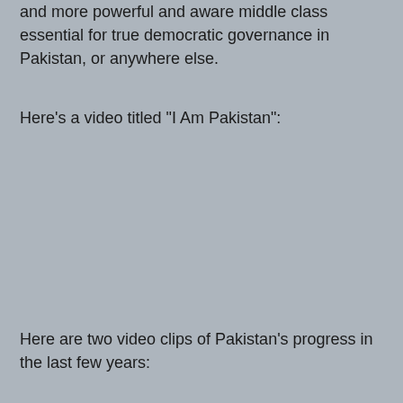and more powerful and aware middle class essential for true democratic governance in Pakistan, or anywhere else.
Here's a video titled "I Am Pakistan":
[Figure (other): Embedded video placeholder area for video titled 'I Am Pakistan']
Here are two video clips of Pakistan's progress in the last few years:
[Figure (other): Embedded video placeholder area for two video clips of Pakistan's progress]